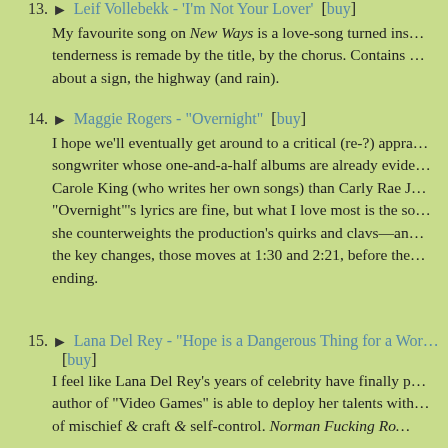13. ▶ Leif Vollebekk - 'I'm Not Your Lover' [buy] My favourite song on New Ways is a love-song turned ins… tenderness is remade by the title, by the chorus. Contains … about a sign, the highway (and rain).
14. ▶ Maggie Rogers - "Overnight" [buy] I hope we'll eventually get around to a critical (re-?) appra… songwriter whose one-and-a-half albums are already evide… Carole King (who writes her own songs) than Carly Rae J… "Overnight"'s lyrics are fine, but what I love most is the so… she counterweights the production's quirks and clavs—an… the key changes, those moves at 1:30 and 2:21, before the… ending.
15. ▶ Lana Del Rey - "Hope is a Dangerous Thing for a Wor… [buy] I feel like Lana Del Rey's years of celebrity have finally p… author of "Video Games" is able to deploy her talents with… of mischief & craft & self-control. Norman Fucking Ro…